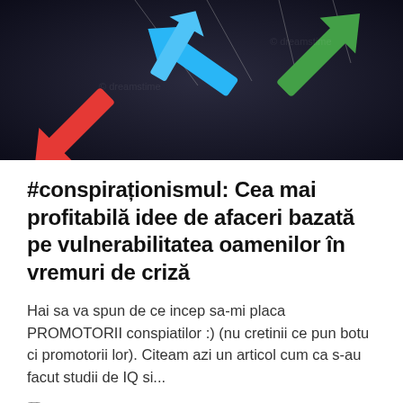[Figure (illustration): Dark background with colorful 3D arrows: a red arrow pointing lower-left, a cyan/blue arrow crossing, and a green arrow pointing upper-right, with suspended wire/string visual elements.]
#conspiraționismul: Cea mai profitabilă idee de afaceri bazată pe vulnerabilitatea oamenilor în vremuri de criză
Hai sa va spun de ce incep sa-mi placa PROMOTORII conspiatilor :) (nu cretinii ce pun botu ci promotorii lor). Citeam azi un articol cum ca s-au facut studii de IQ si...
04/05/2020 | Antreprenoriat, Lume nebuna